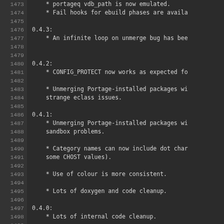Code/changelog view showing version entries 0.4.0 through 0.4.3 with line numbers 1473-1500
1473: * portageq vdb_path is now emulated.
1474-1475: * Fail hooks for ebuild phases are available.
1476-1478: 0.4.3: * An infinite loop on unmerge bug has been fixed.
1479-1484: 0.4.2: * CONFIG_PROTECT now works as expected for. * Unmerging Portage-installed packages without strange eclass issues.
1485-1495: 0.4.1: * Unmerging Portage-installed packages without sandbox problems. * Category names can now include dot characters (some CHOST values). * Use of colour is more consistent. * Lots of doxygen and code cleanup.
1496-1500: 0.4.0: * Lots of internal code cleanup. * Doxygen generated documentation is much...